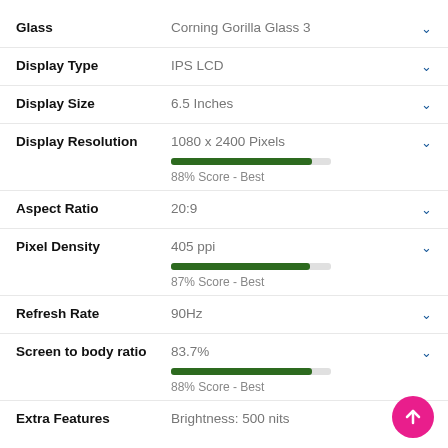Glass — Corning Gorilla Glass 3
Display Type — IPS LCD
Display Size — 6.5 Inches
Display Resolution — 1080 x 2400 Pixels, 88% Score - Best
Aspect Ratio — 20:9
Pixel Density — 405 ppi, 87% Score - Best
Refresh Rate — 90Hz
Screen to body ratio — 83.7%, 88% Score - Best
Extra Features — Brightness: 500 nits